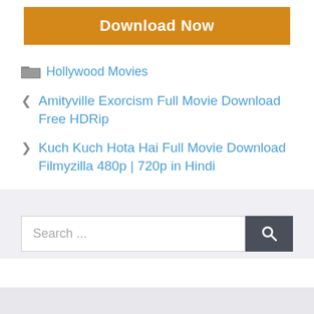[Figure (other): Orange 'Download Now' button]
Hollywood Movies
< Amityville Exorcism Full Movie Download Free HDRip
> Kuch Kuch Hota Hai Full Movie Download Filmyzilla 480p | 720p in Hindi
Search ...